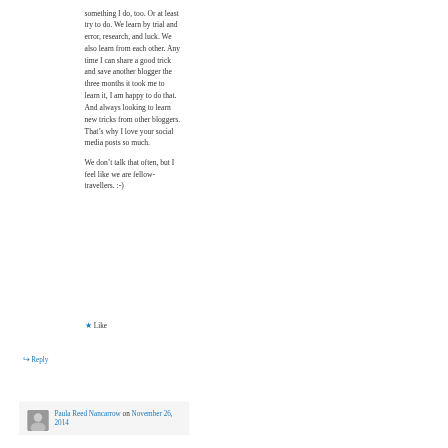something I do, too. Or at least try to do. We learn by trial and error, research, and luck. We also learn from each other. Any time I can share a good trick and save another blogger the three months it took me to learn it, I am happy to do that. And always looking to learn new tricks from other bloggers. That’s why I love your social media posts so much.
We don’t talk that often, but I feel like we are fellow-travellers. :-)
★ Like
↳ Reply
Paula Reed Nancarrow on November 26, 2014